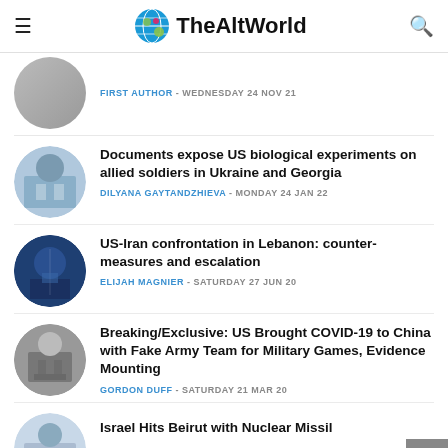TheAltWorld
Documents expose US biological experiments on allied soldiers in Ukraine and Georgia — DILYANA GAYTANDZHIEVA - MONDAY 24 JAN 22
US-Iran confrontation in Lebanon: counter-measures and escalation — ELIJAH MAGNIER - SATURDAY 27 JUN 20
Breaking/Exclusive: US Brought COVID-19 to China with Fake Army Team for Military Games, Evidence Mounting — GORDON DUFF - SATURDAY 21 MAR 20